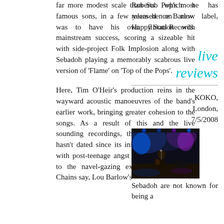far more modest scale than Sub Pop's most famous sons, in a few years hence Barlow was to have his own flirtation with mainstream success, scoring a sizeable hit with side-project Folk Implosion along with Sebadoh playing a memorably scabrous live version of 'Flame' on 'Top of the Pops'.
Roberts which he has released on new label, Happy Soul Records
Here, Tim O'Heir's production reins in the wayward acoustic manoeuvres of the band's earlier work, bringing greater cohesion to the songs. As a result of this and the live sounding recordings, the album seemingly hasn't dated since its initial release. Riddled with post-teenage angst without succumbing to the navel-gazing excesses of Alice in Chains say, Lou Barlow's
live reviews
KOKO, London, 7/5/2008
[Figure (photo): Concert photo showing performer on stage with blue/purple stage lighting]
Sebadoh are not known for being a